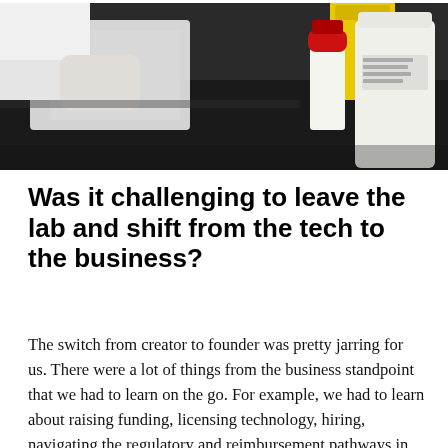[Figure (photo): A laboratory scene showing a person in a white lab coat working with materials on a dark surface, with chemical bottles (one with a red cap, one white bottle) and a yellow container visible in the background.]
Was it challenging to leave the lab and shift from the tech to the business?
The switch from creator to founder was pretty jarring for us. There were a lot of things from the business standpoint that we had to learn on the go. For example, we had to learn about raising funding, licensing technology, hiring, navigating the regulatory and reimbursement pathways in healthcare, etc. Luckily, we were accepted into two accelerators—